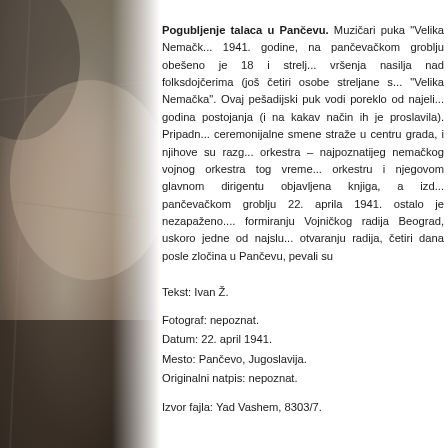[Figure (photo): A black and white historical photograph showing a partial view of a person or scene, mostly obscured, with dark and grey tones. The image occupies the left third of the page.]
Pogubljenje talaca u Pančevu. Muzičari puka "Velika Nemačk... 1941. godine, na pančevačkom groblju obešeno je 18 i strelj... vršenja nasilja nad folksdojčerima (još četiri osobe streljane s... "Velika Nemačka". Ovaj pešadijski puk vodi poreklo od najeli... godina postojanja (i na kakav način ih je proslavila). Pripadn... ceremonijalne smene straže u centru grada, i njihove su razg... orkestra – najpoznatijeg nemačkog vojnog orkestra tog vreme... orkestru i njegovom glavnom dirigentu objavljena knjiga, a izd... pančevačkom groblju 22. aprila 1941. ostalo je nezapaženo.... formiranju Vojničkog radija Beograd, uskoro jedne od najslu... otvaranju radija, četiri dana posle zločina u Pančevu, pevali su
Tekst: Ivan Ž.
Fotograf: nepoznat.
Datum: 22. april 1941.
Mesto: Pančevo, Jugoslavija.
Originalni natpis: nepoznat.
Izvor fajla: Yad Vashem, 8303/7.